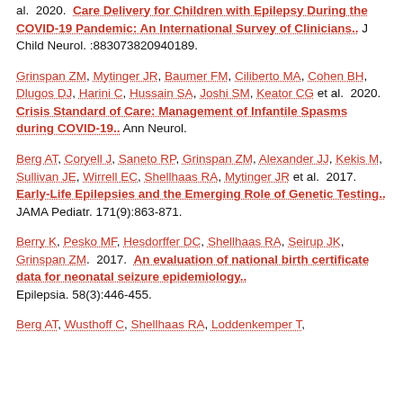al. 2020. Care Delivery for Children with Epilepsy During the COVID-19 Pandemic: An International Survey of Clinicians.. J Child Neurol. :883073820940189.
Grinspan ZM, Mytinger JR, Baumer FM, Ciliberto MA, Cohen BH, Dlugos DJ, Harini C, Hussain SA, Joshi SM, Keator CG et al. 2020. Crisis Standard of Care: Management of Infantile Spasms during COVID-19.. Ann Neurol.
Berg AT, Coryell J, Saneto RP, Grinspan ZM, Alexander JJ, Kekis M, Sullivan JE, Wirrell EC, Shellhaas RA, Mytinger JR et al. 2017. Early-Life Epilepsies and the Emerging Role of Genetic Testing.. JAMA Pediatr. 171(9):863-871.
Berry K, Pesko MF, Hesdorffer DC, Shellhaas RA, Seirup JK, Grinspan ZM. 2017. An evaluation of national birth certificate data for neonatal seizure epidemiology.. Epilepsia. 58(3):446-455.
Berg AT, Wusthoff C, Shellhaas RA, Loddenkemper T,